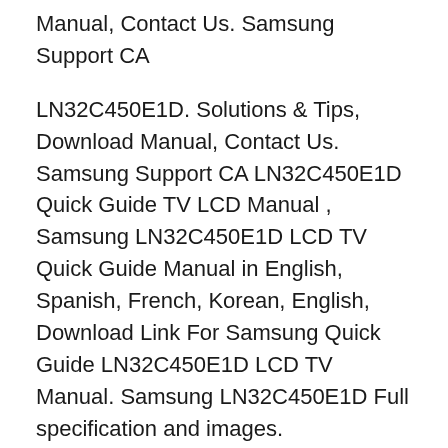Manual, Contact Us. Samsung Support CA
LN32C450E1D. Solutions & Tips, Download Manual, Contact Us. Samsung Support CA LN32C450E1D Quick Guide TV LCD Manual , Samsung LN32C450E1D LCD TV Quick Guide Manual in English, Spanish, French, Korean, English, Download Link For Samsung Quick Guide LN32C450E1D LCD TV Manual. Samsung LN32C450E1D Full specification and images.
29/06/2011В В· Reporting: Samsung LN32A450 Power Light blinking, but does not power up This post has been flagged and will be reviewed by our staff. Thank you for helping us вЂ¦ LN32D403E2D User Manual TV LCD , Samsung LN32D403E2D LCD TV User Manual in English